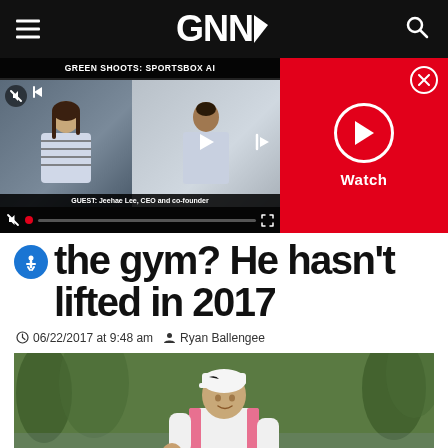GNN (Golf News Network) navigation bar with hamburger menu, logo, and search icon
[Figure (screenshot): Video player showing 'GREEN SHOOTS: SPORTSBOX AI' with two people on screen, playback controls, muted, guest bar reading 'GUEST: Jeehae Lee, CEO and co-founder']
[Figure (screenshot): Red panel with play/watch button and X close button]
the gym? He hasn't lifted in 2017
06/22/2017 at 9:48 am  Ryan Ballengee
[Figure (photo): Golfer (Rory McIlroy) celebrating with fist pump, wearing Nike cap, crowd and trees in background]